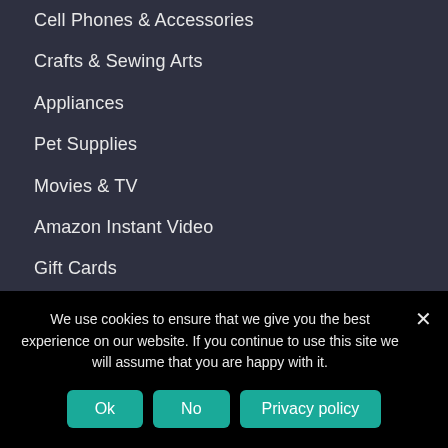Cell Phones & Accessories
Crafts & Sewing Arts
Appliances
Pet Supplies
Movies & TV
Amazon Instant Video
Gift Cards
Patio, Lawn & Garden
Collectibles & Fine Art Products
Clothing, Shoes & Jewelry
We use cookies to ensure that we give you the best experience on our website. If you continue to use this site we will assume that you are happy with it.